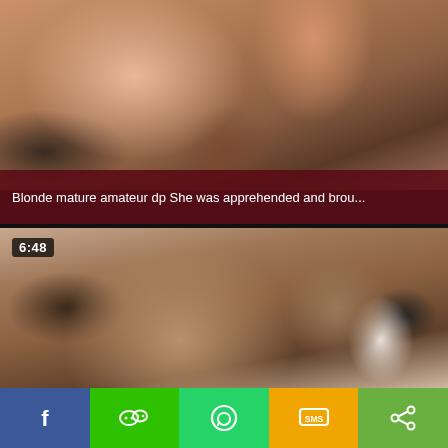[Figure (screenshot): Video thumbnail showing two people, skin tones visible, blurred/cropped adult content thumbnail]
Blonde mature amateur dp She was apprehended and brou...
[Figure (screenshot): Video thumbnail (6:48 duration) showing a woman with dark hair and shoulder tattoo, looking down]
Facebook share button
WeChat share button
WhatsApp share button
SMS share button
Share button